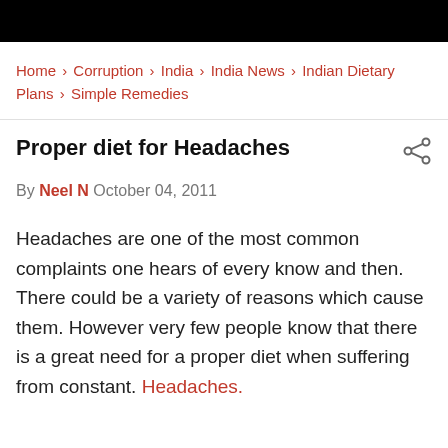Home › Corruption › India › India News › Indian Dietary Plans › Simple Remedies
Proper diet for Headaches
By Neel N October 04, 2011
Headaches are one of the most common complaints one hears of every know and then. There could be a variety of reasons which cause them. However very few people know that there is a great need for a proper diet when suffering from constant. Headaches.